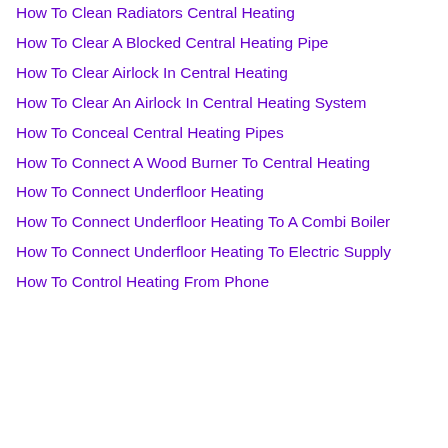How To Clean Radiators Central Heating
How To Clear A Blocked Central Heating Pipe
How To Clear Airlock In Central Heating
How To Clear An Airlock In Central Heating System
How To Conceal Central Heating Pipes
How To Connect A Wood Burner To Central Heating
How To Connect Underfloor Heating
How To Connect Underfloor Heating To A Combi Boiler
How To Connect Underfloor Heating To Electric Supply
How To Control Heating From Phone